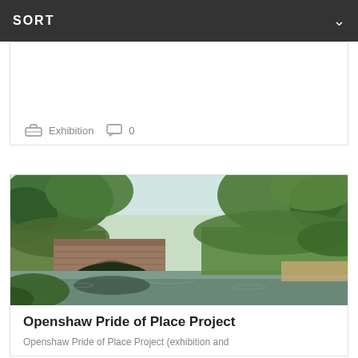SORT
Exhibition  0
[Figure (photo): A canal bridge scene with lush green trees and vegetation surrounding a brick bridge over a still canal waterway, reflecting the bridge and sky in the water.]
Openshaw Pride of Place Project
Openshaw Pride of Place Project (exhibition and